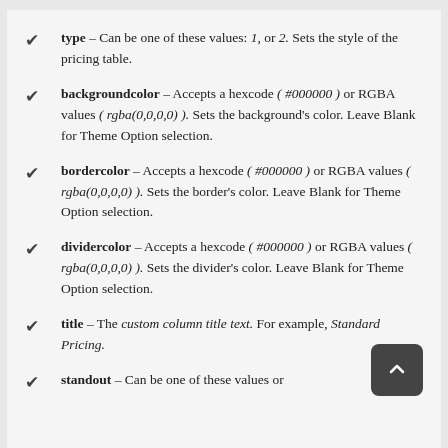type – Can be one of these values: 1, or 2. Sets the style of the pricing table.
backgroundcolor – Accepts a hexcode ( #000000 ) or RGBA values ( rgba(0,0,0,0) ). Sets the background's color. Leave Blank for Theme Option selection.
bordercolor – Accepts a hexcode ( #000000 ) or RGBA values ( rgba(0,0,0,0) ). Sets the border's color. Leave Blank for Theme Option selection.
dividercolor – Accepts a hexcode ( #000000 ) or RGBA values ( rgba(0,0,0,0) ). Sets the divider's color. Leave Blank for Theme Option selection.
title – The custom column title text. For example, Standard Pricing.
standout – Can be one of these values or...